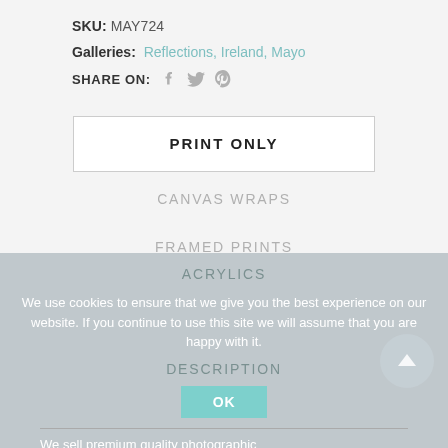SKU: MAY724
Galleries: Reflections, Ireland, Mayo
SHARE ON:
PRINT ONLY
CANVAS WRAPS
FRAMED PRINTS
ACRYLICS
We use cookies to ensure that we give you the best experience on our website. If you continue to use this site we will assume that you are happy with it.
DESCRIPTION
We sell premium quality photographic